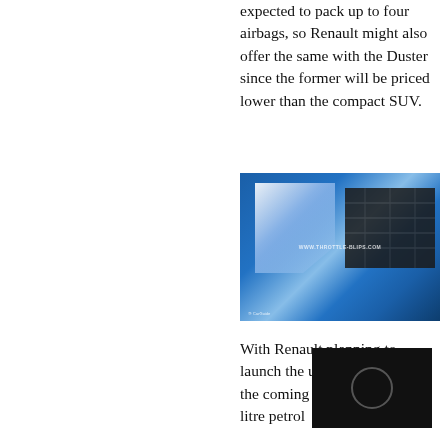expected to pack up to four airbags, so Renault might also offer the same with the Duster since the former will be priced lower than the compact SUV.
[Figure (photo): Close-up front view of a blue Renault Duster SUV showing headlight and grille, with watermark WWW.THROTTLE-BLIPS.COM and CarGuide logo]
With Renault planning to launch the updated Duster in the coming months, its 1.5-litre petrol engines are exp... adhere to BS6 emission